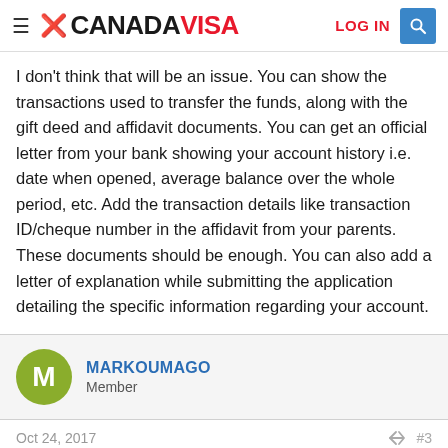CANADAVISA | LOG IN
I don't think that will be an issue. You can show the transactions used to transfer the funds, along with the gift deed and affidavit documents. You can get an official letter from your bank showing your account history i.e. date when opened, average balance over the whole period, etc. Add the transaction details like transaction ID/cheque number in the affidavit from your parents. These documents should be enough. You can also add a letter of explanation while submitting the application detailing the specific information regarding your account.
MARKOUMAGO
Member
Oct 24, 2017   #3
achan88 said: ↑
I don't think that will be an issue. You can show the transactions